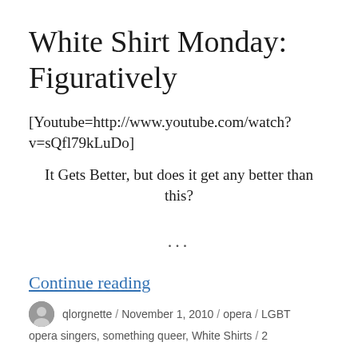White Shirt Monday: Figuratively
[Youtube=http://www.youtube.com/watch?v=sQfl79kLuDo]
It Gets Better, but does it get any better than this?
...
Continue reading
qlorgnette / November 1, 2010 / opera / LGBT opera singers, something queer, White Shirts / 2